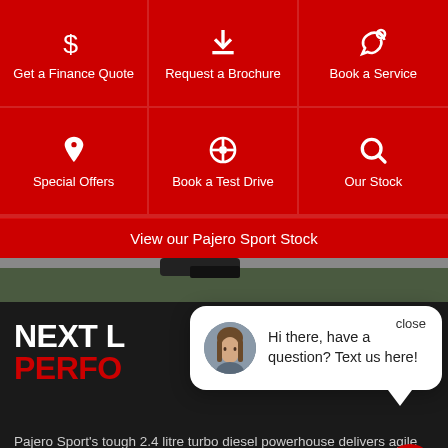[Figure (screenshot): Navigation grid with 6 red tiles: Get a Finance Quote (dollar sign icon), Request a Brochure (download icon), Book a Service (wrench icon), Special Offers (tag icon), Book a Test Drive (steering wheel icon), Our Stock (search icon)]
View our Pajero Sport Stock
[Figure (photo): Outdoor grass/ground photo strip]
NEXT L... PERFO...
[Figure (screenshot): Live chat popup with avatar of a woman, text: Hi there, have a question? Text us here!, and a close button]
Pajero Sport's tough 2.4 litre turbo diesel powerhouse delivers agile acceleration, heavy hauling capability with Trailer Stability Assist K22, and remarkably frugal fuel consumption.